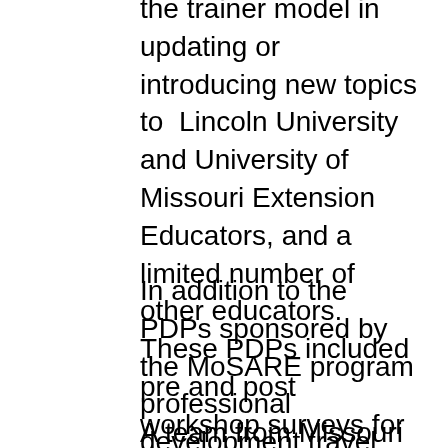the trainer model in updating or introducing new topics to Lincoln University and University of Missouri Extension Educators, and a limited number of other educators. These PDPs included pre and post workshop surveys for determining knowledge and intended behavioral change. The four PDPs were: Blueberry School, Tomato School, Winter Vegetable Production School, and Regulations for Selling Local Foods.
In addition to the PDPs sponsored by the MoSARE program professional development travel scholarships were also used to update or introduce new educational ideas and concepts to Lincoln University and University of Missouri Extension Educators, and a limited number of other educators. Each of these scholarships was awarded with the expectation that the recipient would conduct educational activities sharing their newly acquired knowledge with others.
A team from Missouri was created to address